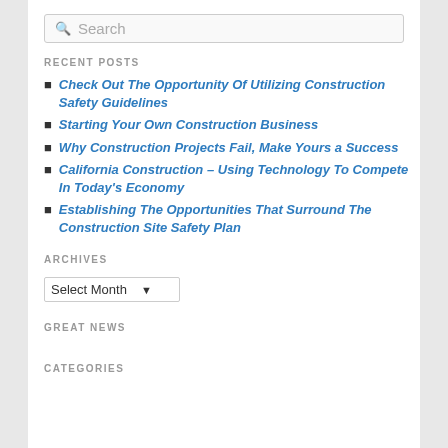[Figure (screenshot): Search input box with magnifying glass icon and placeholder text 'Search']
RECENT POSTS
Check Out The Opportunity Of Utilizing Construction Safety Guidelines
Starting Your Own Construction Business
Why Construction Projects Fail, Make Yours a Success
California Construction – Using Technology To Compete In Today's Economy
Establishing The Opportunities That Surround The Construction Site Safety Plan
ARCHIVES
[Figure (screenshot): Dropdown select box labeled 'Select Month' with a down arrow]
GREAT NEWS
CATEGORIES